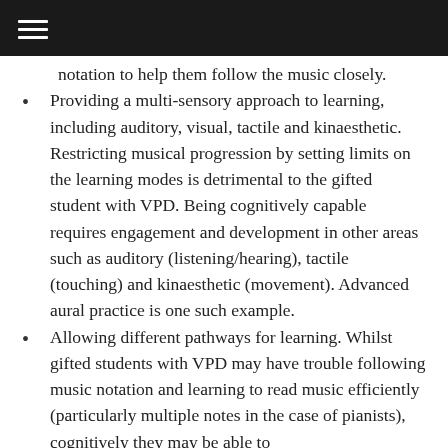notation to help them follow the music closely.
Providing a multi-sensory approach to learning, including auditory, visual, tactile and kinaesthetic. Restricting musical progression by setting limits on the learning modes is detrimental to the gifted student with VPD. Being cognitively capable requires engagement and development in other areas such as auditory (listening/hearing), tactile (touching) and kinaesthetic (movement). Advanced aural practice is one such example.
Allowing different pathways for learning. Whilst gifted students with VPD may have trouble following music notation and learning to read music efficiently (particularly multiple notes in the case of pianists), cognitively they may be able to